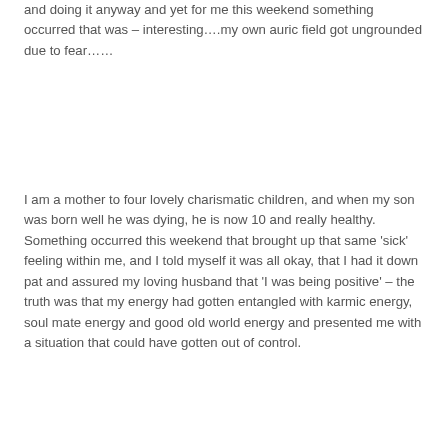and doing it anyway and yet for me this weekend something occurred that was – interesting….my own auric field got ungrounded due to fear……
I am a mother to four lovely charismatic children, and when my son was born well he was dying, he is now 10 and really healthy.  Something occurred this weekend that brought up that same 'sick' feeling within me, and I told myself it was all okay, that I had it down pat and assured my loving husband that 'I was being positive' – the truth was that my energy had gotten entangled with karmic energy, soul mate energy and good old world energy and presented me with a situation that could have gotten out of control.